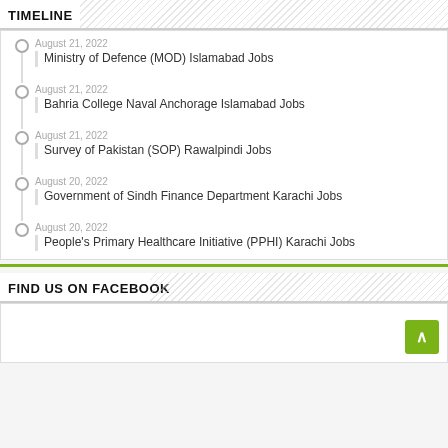TIMELINE
August 21, 2022
Ministry of Defence (MOD) Islamabad Jobs
August 21, 2022
Bahria College Naval Anchorage Islamabad Jobs
August 21, 2022
Survey of Pakistan (SOP) Rawalpindi Jobs
August 20, 2022
Government of Sindh Finance Department Karachi Jobs
August 20, 2022
People's Primary Healthcare Initiative (PPHI) Karachi Jobs
FIND US ON FACEBOOK